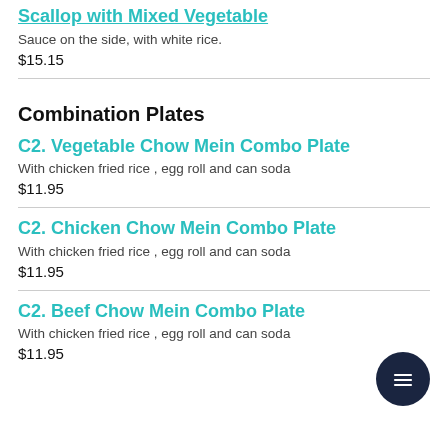Scallop with Mixed Vegetable
Sauce on the side, with white rice.
$15.15
Combination Plates
C2. Vegetable Chow Mein Combo Plate
With chicken fried rice , egg roll and can soda
$11.95
C2. Chicken Chow Mein Combo Plate
With chicken fried rice , egg roll and can soda
$11.95
C2. Beef Chow Mein Combo Plate
With chicken fried rice , egg roll and can soda
$11.95